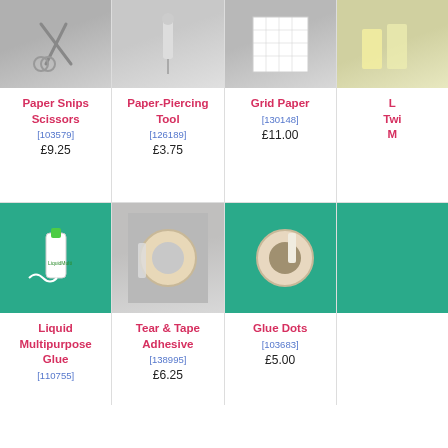[Figure (photo): Paper Snips Scissors product photo on gray background]
Paper Snips Scissors
[103579]
£9.25
[Figure (photo): Paper-Piercing Tool product photo on gray background]
Paper-Piercing Tool
[126189]
£3.75
[Figure (photo): Grid Paper product photo on gray background]
Grid Paper
[130148]
£11.00
[Figure (photo): Liquid Twist Markers product photo — partially cut off on right edge]
L... Twi... M...
[Figure (photo): Liquid Multipurpose Glue product on teal background]
Liquid Multipurpose Glue
[110755]
[Figure (photo): Tear & Tape Adhesive product on gray background]
Tear & Tape Adhesive
[138995]
£6.25
[Figure (photo): Glue Dots product on teal background]
Glue Dots
[103683]
£5.00